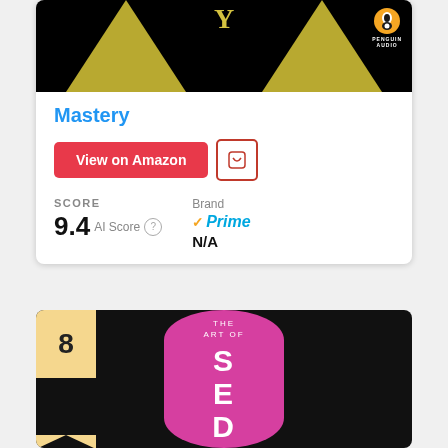[Figure (illustration): Book cover for Mastery with gold/yellow triangles on black background and Penguin Audio logo]
Mastery
View on Amazon
SCORE
9.4 AI Score
Brand ✓Prime
N/A
[Figure (illustration): Book cover for The Art of Seduction with pink/magenta shape on black background, rank badge 8]